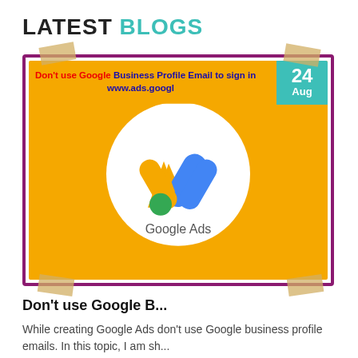LATEST BLOGS
[Figure (illustration): Blog card thumbnail showing Google Ads logo on yellow background with purple border and tape corners. Overlay text reads 'Don't use Google Business Profile Email to sign in www.ads.googl'. Date badge showing '24 Aug' in teal.]
Don't use Google B...
While creating Google Ads don't use Google business profile emails. In this topic, I am sh...